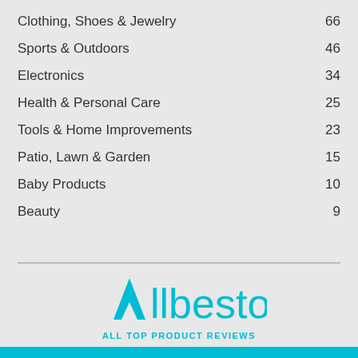Clothing, Shoes & Jewelry  66
Sports & Outdoors  46
Electronics  34
Health & Personal Care  25
Tools & Home Improvements  23
Patio, Lawn & Garden  15
Baby Products  10
Beauty  9
[Figure (logo): Allbestops logo with cyan arrow/triangle icon and text 'Allbestops' in cyan, tagline 'ALL TOP PRODUCT REVIEWS' below in cyan uppercase letters]